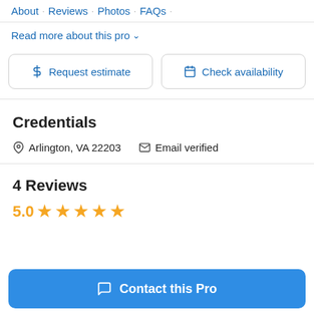About · Reviews · Photos · FAQs ·
Read more about this pro ∨
$ Request estimate | 🗓 Check availability
Credentials
📍 Arlington, VA 22203   ✉ Email verified
4 Reviews
5.0 ★★★★★
Contact this Pro